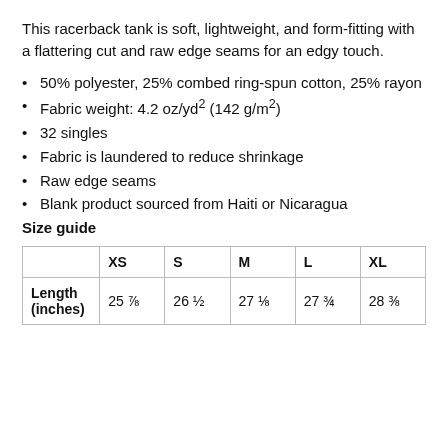This racerback tank is soft, lightweight, and form-fitting with a flattering cut and raw edge seams for an edgy touch.
50% polyester, 25% combed ring-spun cotton, 25% rayon
Fabric weight: 4.2 oz/yd² (142 g/m²)
32 singles
Fabric is laundered to reduce shrinkage
Raw edge seams
Blank product sourced from Haiti or Nicaragua
Size guide
|  | XS | S | M | L | XL |
| --- | --- | --- | --- | --- | --- |
| Length (inches) | 25 ⅞ | 26 ½ | 27 ⅛ | 27 ¾ | 28 ⅜ |